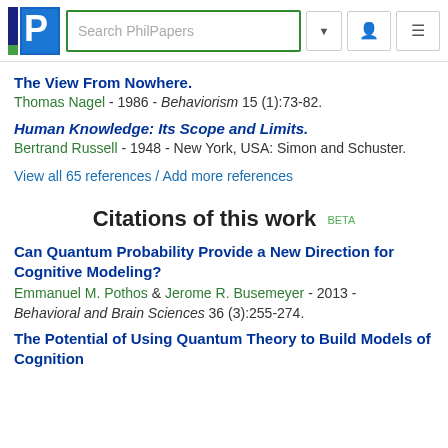Search PhilPapers
The View From Nowhere.
Thomas Nagel - 1986 - Behaviorism 15 (1):73-82.
Human Knowledge: Its Scope and Limits.
Bertrand Russell - 1948 - New York, USA: Simon and Schuster.
View all 65 references / Add more references
Citations of this work BETA
Can Quantum Probability Provide a New Direction for Cognitive Modeling?
Emmanuel M. Pothos & Jerome R. Busemeyer - 2013 - Behavioral and Brain Sciences 36 (3):255-274.
The Potential of Using Quantum Theory to Build Models of Cognition